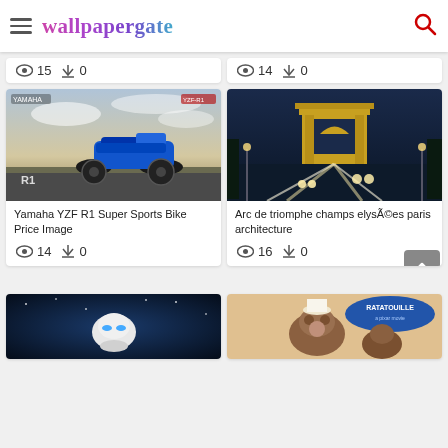wallpapergate
15  0
14  0
[Figure (photo): Blue Yamaha YZF R1 superbike on road with cloudy sky background, R1 logo visible]
Yamaha YZF R1 Super Sports Bike Price Image
14  0
[Figure (photo): Arc de Triomphe at dusk with Champs-Élysées traffic and city lights stretching into the distance]
Arc de triomphe champs elysÃ©es paris architecture
16  0
[Figure (photo): EVE robot from WALL-E movie against starry blue space background]
[Figure (photo): Ratatouille movie characters with Ratatouille logo]